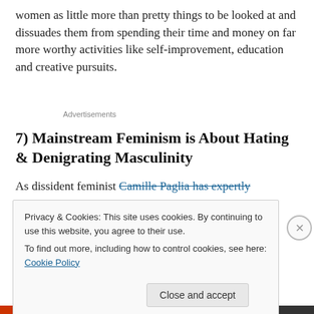women as little more than pretty things to be looked at and dissuades them from spending their time and money on far more worthy activities like self-improvement, education and creative pursuits.
Advertisements
7) Mainstream Feminism is About Hating & Denigrating Masculinity
As dissident feminist Camille Paglia has expertly
Privacy & Cookies: This site uses cookies. By continuing to use this website, you agree to their use.
To find out more, including how to control cookies, see here: Cookie Policy
Close and accept